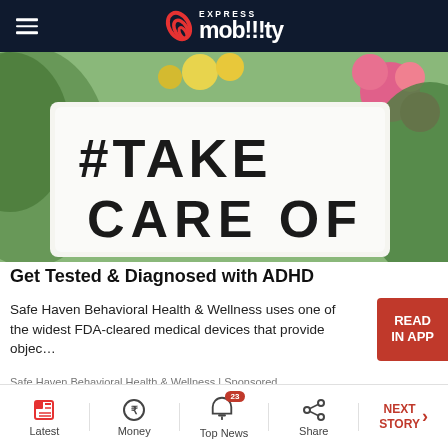Express Mobility
[Figure (photo): A sign with text '#TAKE CARE OF' on a light box surrounded by flowers and green leaves]
Get Tested & Diagnosed with ADHD
Safe Haven Behavioral Health & Wellness uses one of the widest FDA-cleared medical devices that provide objec…
Safe Haven Behavioral Health & Wellness | Sponsored
[Figure (photo): Partial view of a person wearing a blue patterned cap]
Latest | Money | Top News (23) | Share | NEXT STORY